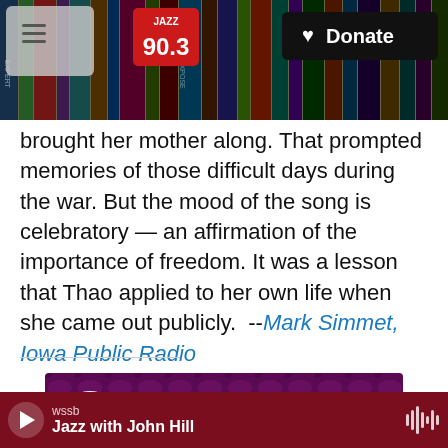[Figure (screenshot): Website header with bookshelf background image, hamburger menu icon, Jazz 90.3 red logo, and a black 'Donate' button with a heart icon on the right.]
brought her mother along. That prompted memories of those difficult days during the war. But the mood of the song is celebratory — an affirmation of the importance of freedom. It was a lesson that Thao applied to her own life when she came out publicly. --Mark Simmet, Iowa Public Radio
[Figure (screenshot): YouTube embed showing Thundercat - 'Black Qualls (feat. St...' with a circular Thundercat logo icon on a purple/magenta patterned background, and a vertical dots menu icon.]
[Figure (screenshot): Audio player bar at the bottom showing wssb station, 'Jazz with John Hill' show title, a play button on the left, and a waveform/sound icon on the right. Dark red background.]